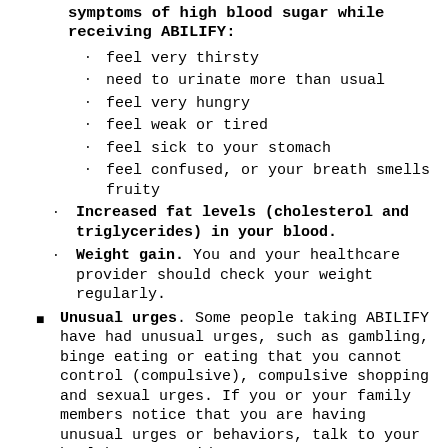symptoms of high blood sugar while receiving ABILIFY:
feel very thirsty
need to urinate more than usual
feel very hungry
feel weak or tired
feel sick to your stomach
feel confused, or your breath smells fruity
Increased fat levels (cholesterol and triglycerides) in your blood.
Weight gain. You and your healthcare provider should check your weight regularly.
Unusual urges. Some people taking ABILIFY have had unusual urges, such as gambling, binge eating or eating that you cannot control (compulsive), compulsive shopping and sexual urges. If you or your family members notice that you are having unusual urges or behaviors, talk to your healthcare provider.